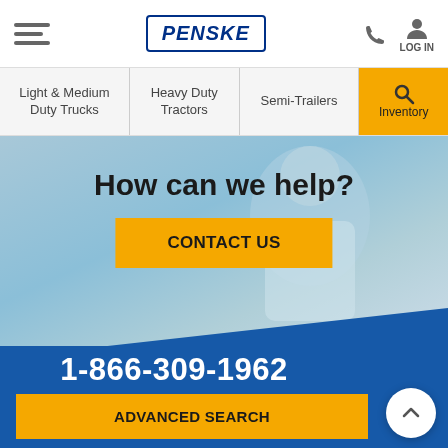Penske — hamburger menu, logo, phone icon, LOG IN
Light & Medium Duty Trucks | Heavy Duty Tractors | Semi-Trailers | Inventory (search)
How can we help?
CONTACT US
1-866-309-1962
ADVANCED SEARCH